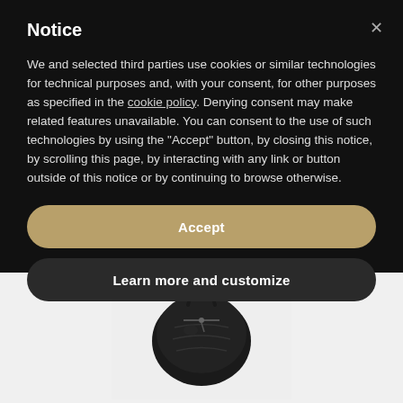Notice
We and selected third parties use cookies or similar technologies for technical purposes and, with your consent, for other purposes as specified in the cookie policy. Denying consent may make related features unavailable. You can consent to the use of such technologies by using the "Accept" button, by closing this notice, by scrolling this page, by interacting with any link or button outside of this notice or by continuing to browse otherwise.
Accept
Learn more and customize
[Figure (photo): A dark leather handbag/purse partially visible at the bottom of the page on a light gray background]